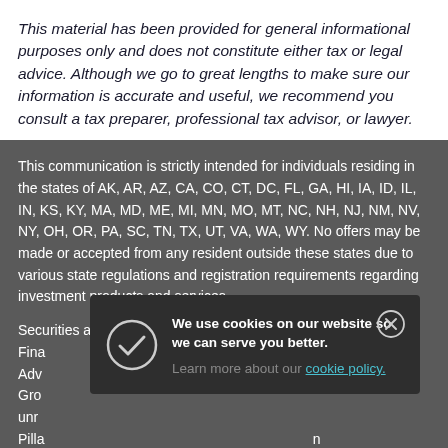This material has been provided for general informational purposes only and does not constitute either tax or legal advice. Although we go to great lengths to make sure our information is accurate and useful, we recommend you consult a tax preparer, professional tax advisor, or lawyer.
This communication is strictly intended for individuals residing in the states of AK, AR, AZ, CA, CO, CT, DC, FL, GA, HI, IA, ID, IL, IN, KS, KY, MA, MD, ME, MI, MN, MO, MT, NC, NH, NJ, NM, NV, NY, OH, OR, PA, SC, TN, TX, UT, VA, WA, WY. No offers may be made or accepted from any resident outside these states due to various state regulations and registration requirements regarding investment products and services.
Securities and advisory services offered through Commonwealth Fina... Adv... al Gro... unr...
Pilla... the state of Washington. The adviser may not transact business